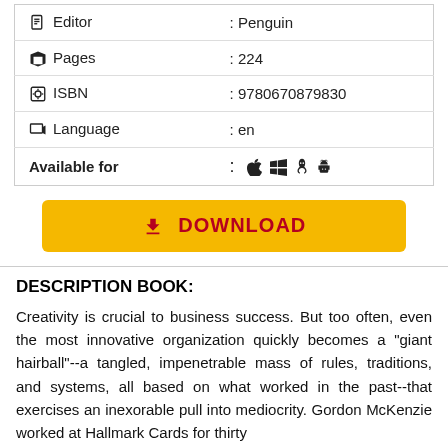| 📄 Editor | : Penguin |
| 📁 Pages | : 224 |
| 🔖 ISBN | : 9780670879830 |
| 🌐 Language | : en |
| Available for | :     |
DOWNLOAD
DESCRIPTION BOOK:
Creativity is crucial to business success. But too often, even the most innovative organization quickly becomes a "giant hairball"--a tangled, impenetrable mass of rules, traditions, and systems, all based on what worked in the past--that exercises an inexorable pull into mediocrity. Gordon McKenzie worked at Hallmark Cards for thirty